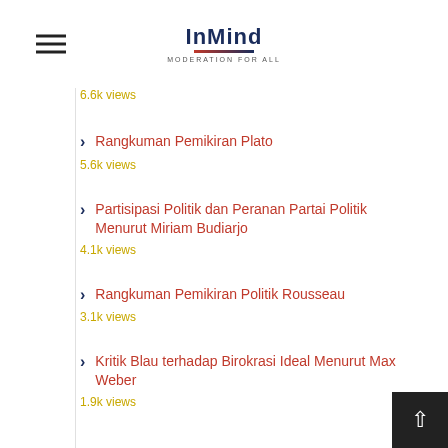InMind — MODERATION FOR ALL
6.6k views
Rangkuman Pemikiran Plato
5.6k views
Partisipasi Politik dan Peranan Partai Politik Menurut Miriam Budiarjo
4.1k views
Rangkuman Pemikiran Politik Rousseau
3.1k views
Kritik Blau terhadap Birokrasi Ideal Menurut Max Weber
1.9k views